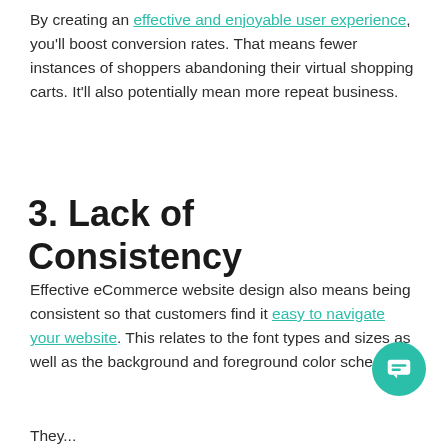By creating an effective and enjoyable user experience, you'll boost conversion rates. That means fewer instances of shoppers abandoning their virtual shopping carts. It'll also potentially mean more repeat business.
3. Lack of Consistency
Effective eCommerce website design also means being consistent so that customers find it easy to navigate your website. This relates to the font types and sizes as well as the background and foreground color schemes.
They...